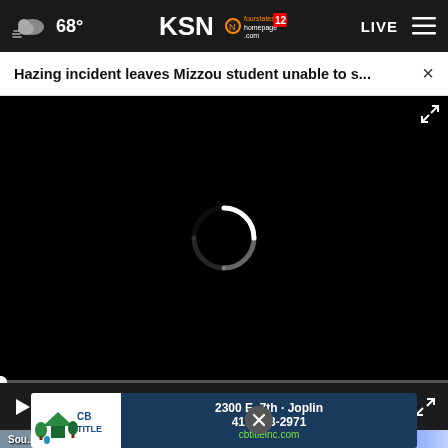68° KSN fourstates homepage.com 12 LIVE
Hazing incident leaves Mizzou student unable to s... ×
[Figure (screenshot): Black video player area with white loading spinner arc in the center]
00:00
[Figure (photo): Left thumbnail: blurred building exterior. Right thumbnail: colorful heat-map style image with blue/pink/purple colors]
[Figure (infographic): CB TITLE advertisement banner: 2300 E. 7th · Joplin, 417-623-2971, cbtitleinc.com]
Sou... an Kansas hospital... in jail following...